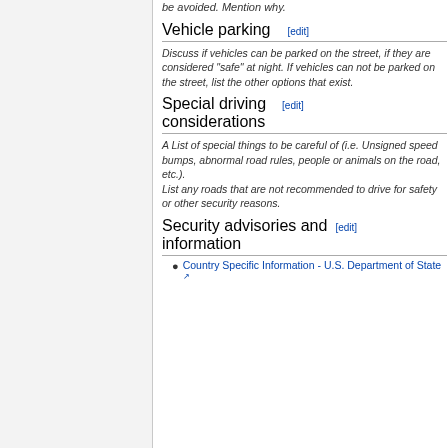be avoided. Mention why.
Vehicle parking [edit]
Discuss if vehicles can be parked on the street, if they are considered "safe" at night. If vehicles can not be parked on the street, list the other options that exist.
Special driving considerations [edit]
A List of special things to be careful of (i.e. Unsigned speed bumps, abnormal road rules, people or animals on the road, etc.).
List any roads that are not recommended to drive for safety or other security reasons.
Security advisories and information [edit]
Country Specific Information - U.S. Department of State